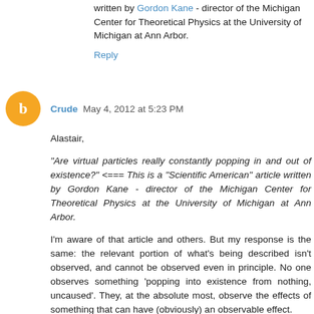written by Gordon Kane - director of the Michigan Center for Theoretical Physics at the University of Michigan at Ann Arbor.
Reply
Crude  May 4, 2012 at 5:23 PM
Alastair,
"Are virtual particles really constantly popping in and out of existence?" <=== This is a "Scientific American" article written by Gordon Kane - director of the Michigan Center for Theoretical Physics at the University of Michigan at Ann Arbor.
I'm aware of that article and others. But my response is the same: the relevant portion of what's being described isn't observed, and cannot be observed even in principle. No one observes something 'popping into existence from nothing, uncaused'. They, at the absolute most, observe the effects of something that can have (obviously) an observable effect.